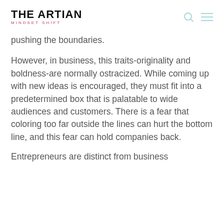THE ARTIAN MINDSET SHIFT
pushing the boundaries.
However, in business, this traits-originality and boldness-are normally ostracized. While coming up with new ideas is encouraged, they must fit into a predetermined box that is palatable to wide audiences and customers. There is a fear that coloring too far outside the lines can hurt the bottom line, and this fear can hold companies back.
Entrepreneurs are distinct from business